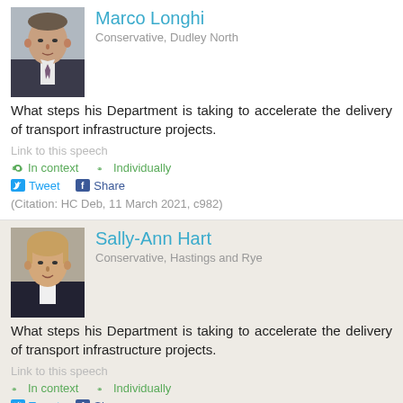Marco Longhi
Conservative, Dudley North
What steps his Department is taking to accelerate the delivery of transport infrastructure projects.
Link to this speech
In context   Individually
Tweet   Share
(Citation: HC Deb, 11 March 2021, c982)
Sally-Ann Hart
Conservative, Hastings and Rye
What steps his Department is taking to accelerate the delivery of transport infrastructure projects.
Link to this speech
In context   Individually
Tweet   Share
(Citation: HC Deb, 11 March 2021, c982)